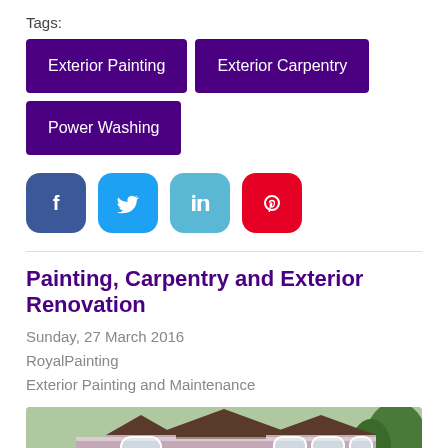Tags:
Exterior Painting
Exterior Carpentry
Power Washing
[Figure (other): Social share buttons: Facebook, Twitter, LinkedIn, Pinterest]
Painting, Carpentry and Exterior Renovation
Sunday, 27 March 2016
RoyalPainting
Exterior Painting and Maintenance
[Figure (photo): Photo of a house with painted exterior, showing siding, dormers, and trim in light purple/mauve with white accents and a dark roof, with trees in background.]